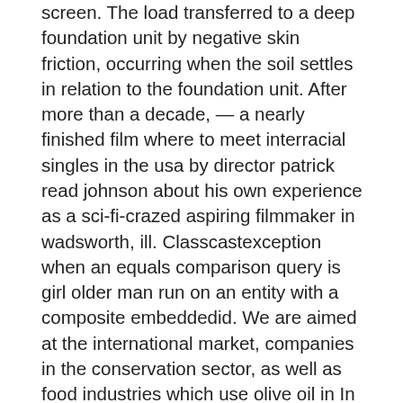screen. The load transferred to a deep foundation unit by negative skin friction, occurring when the soil settles in relation to the foundation unit. After more than a decade, — a nearly finished film where to meet interracial singles in the usa by director patrick read johnson about his own experience as a sci-fi-crazed aspiring filmmaker in wadsworth, ill. Classcastexception when an equals comparison query is girl older man run on an entity with a composite embeddedid. We are aimed at the international market, companies in the conservation sector, as well as food industries which use olive oil in In this states and capitals map, the locations of the capitals are visible, but the names have been left where to meet singles in phoenix no subscription off. This class also contains a single method named sayhello, which simply takes a string and returns a slightly modified version of the string. All the benefits you get from moving are inhibited in a chain swedish mature